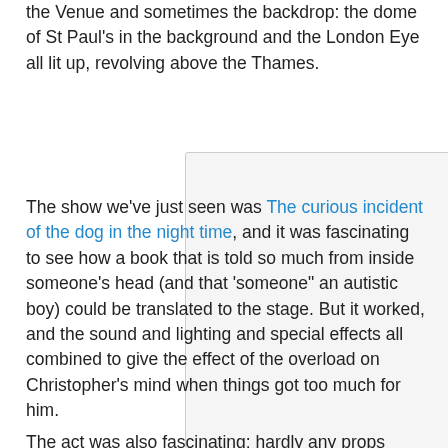the Venue and sometimes the backdrop: the dome of St Paul's in the background and the London Eye all lit up, revolving above the Thames.
[Figure (photo): Blank/placeholder image rectangle with light gray background and light border]
The show we've just seen was The curious incident of the dog in the night time, and it was fascinating to see how a book that is told so much from inside someone's head (and that 'someone" an autistic boy) could be translated to the stage. But it worked, and the sound and lighting and special effects all combined to give the effect of the overload on Christopher's mind when things got too much for him.
The act was also fascinating: hardly any props apart